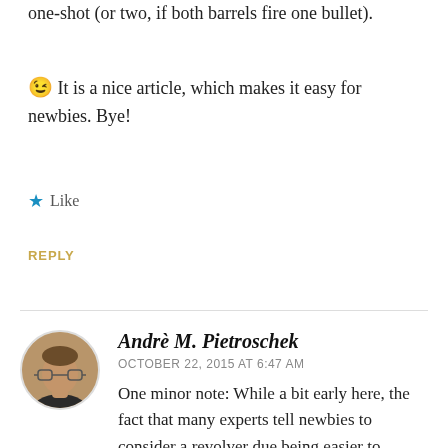one-shot (or two, if both barrels fire one bullet).
😉 It is a nice article, which makes it easy for newbies. Bye!
★ Like
REPLY
[Figure (photo): Circular avatar photo of Andrè M. Pietroschek, a person wearing glasses]
Andrè M. Pietroschek
OCTOBER 22, 2015 AT 6:47 AM
One minor note: While a bit early here, the fact that many experts tell newbies to consider a revolver due being easier to